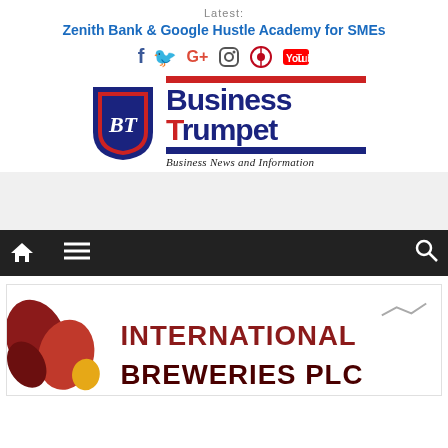Latest:
Zenith Bank & Google Hustle Academy for SMEs
[Figure (illustration): Social media icons: Facebook, Twitter, Google+, Instagram, Pinterest, YouTube]
[Figure (logo): Business Trumpet logo with shield emblem and text 'Business Trumpet - Business News and Information']
[Figure (other): Gray advertisement banner area]
[Figure (other): Dark navigation bar with home icon, menu icon, and search icon]
[Figure (logo): International Breweries PLC logo partially visible at bottom of page]